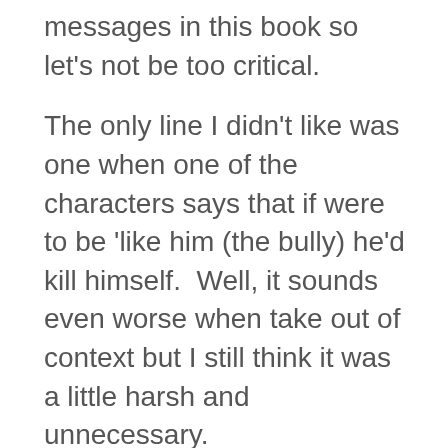messages in this book so let's not be too critical.
The only line I didn't like was one when one of the characters says that if were to be 'like him (the bully) he'd kill himself.  Well, it sounds even worse when take out of context but I still think it was a little harsh and unnecessary.
To round things up because I have a mountain of ironing to get through the only thing my son takes out of it is the allegedly sugary  'be kinder than necessary'… that's ok with me!